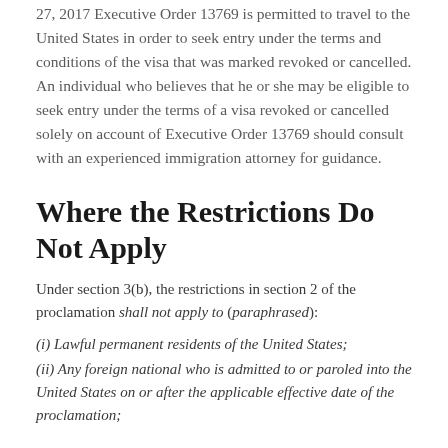27, 2017 Executive Order 13769 is permitted to travel to the United States in order to seek entry under the terms and conditions of the visa that was marked revoked or cancelled. An individual who believes that he or she may be eligible to seek entry under the terms of a visa revoked or cancelled solely on account of Executive Order 13769 should consult with an experienced immigration attorney for guidance.
Where the Restrictions Do Not Apply
Under section 3(b), the restrictions in section 2 of the proclamation shall not apply to (paraphrased):
(i) Lawful permanent residents of the United States;
(ii) Any foreign national who is admitted to or paroled into the United States on or after the applicable effective date of the proclamation;